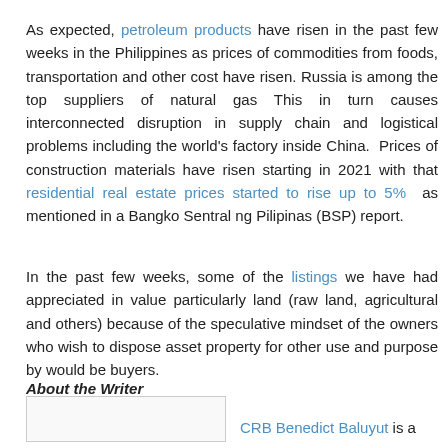As expected, petroleum products have risen in the past few weeks in the Philippines as prices of commodities from foods, transportation and other cost have risen. Russia is among the top suppliers of natural gas This in turn causes interconnected disruption in supply chain and logistical problems including the world's factory inside China. Prices of construction materials have risen starting in 2021 with that residential real estate prices started to rise up to 5% as mentioned in a Bangko Sentral ng Pilipinas (BSP) report.
In the past few weeks, some of the listings we have had appreciated in value particularly land (raw land, agricultural and others) because of the speculative mindset of the owners who wish to dispose asset property for other use and purpose by would be buyers.
About the Writer
CRB Benedict Baluyut is a